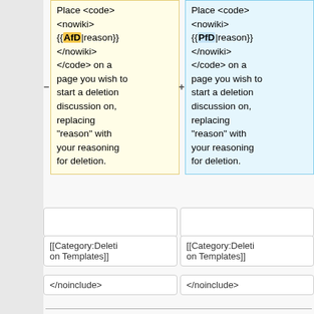Place <code><nowiki>{{AfD|reason}}</nowiki></code> on a page you wish to start a deletion discussion on, replacing "reason" with your reasoning for deletion.
Place <code><nowiki>{{PfD|reason}}</nowiki></code> on a page you wish to start a deletion discussion on, replacing "reason" with your reasoning for deletion.
[[Category:Deletion Templates]]
[[Category:Deletion Templates]]
</noinclude>
</noinclude>
Latest revision as of 14:38, 11 February 2015